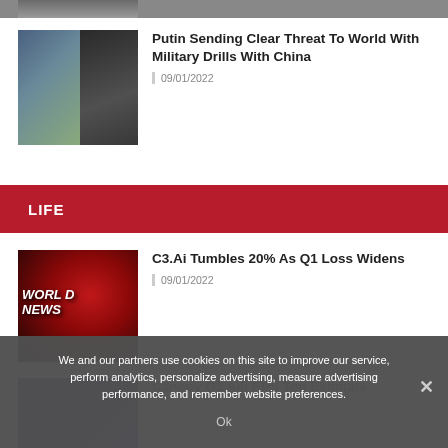[Figure (photo): Cropped top portion of a news thumbnail image, mostly cut off]
[Figure (photo): Two-panel thumbnail: left shows soldiers with flags, right shows Putin in a suit]
Putin Sending Clear Threat To World With Military Drills With China
09/01/2022
LIFE
[Figure (photo): Dark red World News graphic with glowing globe and text 'WORLD NEWS']
C3.Ai Tumbles 20% As Q1 Loss Widens
09/01/2022
[Figure (photo): Partially visible purple-toned thumbnail]
Canopy Q2 Adj EPS Top Estimate
We and our partners use cookies on this site to improve our service, perform analytics, personalize advertising, measure advertising performance, and remember website preferences.
Ok